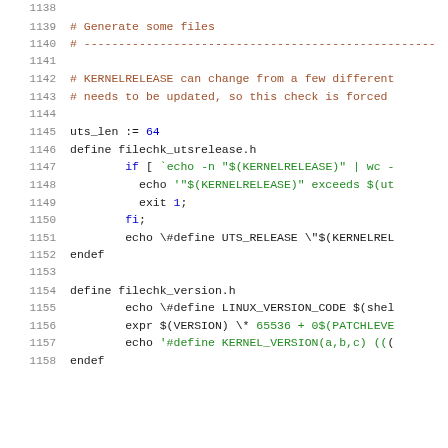Source code listing lines 1138-1158 of a Linux Makefile
1138 (blank)
1139   # Generate some files
1140   # --------------------------------------------------...
1141 (blank)
1142   # KERNELRELEASE can change from a few different...
1143   # needs to be updated, so this check is forced
1144 (blank)
1145   uts_len := 64
1146   define filechk_utsrelease.h
1147           if [ `echo -n "$(KERNELRELEASE)" | wc -...
1148             echo '"$(KERNELRELEASE)" exceeds $(ut...
1149             exit 1;
1150           fi;
1151           echo \#define UTS_RELEASE \"$(KERNELREL...
1152   endef
1153 (blank)
1154   define filechk_version.h
1155           echo \#define LINUX_VERSION_CODE $(shel...
1156           expr $(VERSION) \* 65536 + 0$(PATCHLEVE...
1157           echo '#define KERNEL_VERSION(a,b,c) (((...
1158   endef